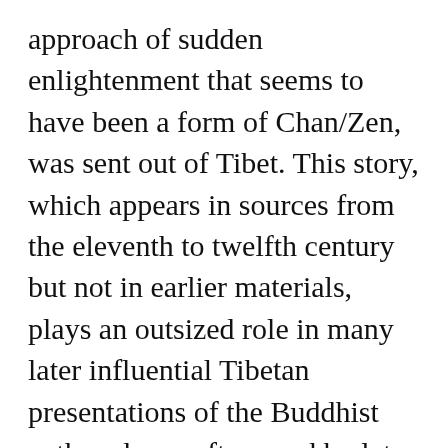approach of sudden enlightenment that seems to have been a form of Chan/Zen, was sent out of Tibet. This story, which appears in sources from the eleventh to twelfth century but not in earlier materials, plays an outsized role in many later influential Tibetan presentations of the Buddhist path and was often used by later Tibetan thinkers
[Figure (logo): Circular icon with a silhouette of a meditating Buddha figure in black on white background]
LionsRoar.com uses cookies to provide necessary website functionality, improve your experience and analyze our traffic. By using our website, you agree to our Privacy Policy and our cookies usage.
ACCEPT
DECLINE